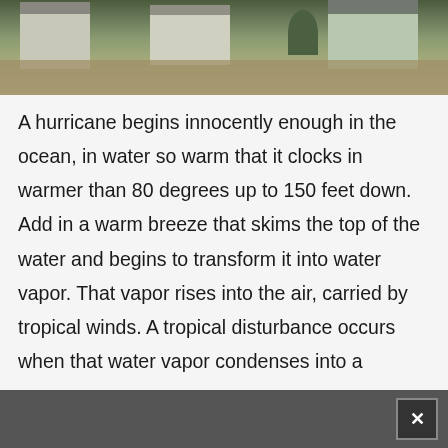[Figure (photo): Aerial view of flooded houses and neighborhood with brown floodwater surrounding residential buildings]
A hurricane begins innocently enough in the ocean, in water so warm that it clocks in warmer than 80 degrees up to 150 feet down. Add in a warm breeze that skims the top of the water and begins to transform it into water vapor. That vapor rises into the air, carried by tropical winds. A tropical disturbance occurs when that water vapor condenses into a cyclical cloud. From there, a complicated process of heating and cooling forces